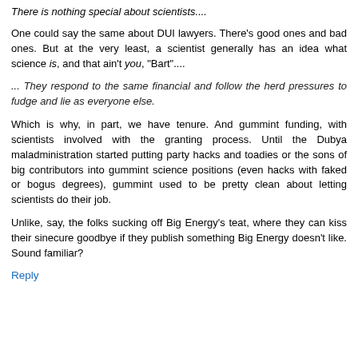There is nothing special about scientists....
One could say the same about DUI lawyers. There's good ones and bad ones. But at the very least, a scientist generally has an idea what science is, and that ain't you, "Bart"....
... They respond to the same financial and follow the herd pressures to fudge and lie as everyone else.
Which is why, in part, we have tenure. And gummint funding, with scientists involved with the granting process. Until the Dubya maladministration started putting party hacks and toadies or the sons of big contributors into gummint science positions (even hacks with faked or bogus degrees), gummint used to be pretty clean about letting scientists do their job.
Unlike, say, the folks sucking off Big Energy's teat, where they can kiss their sinecure goodbye if they publish something Big Energy doesn't like. Sound familiar?
Reply